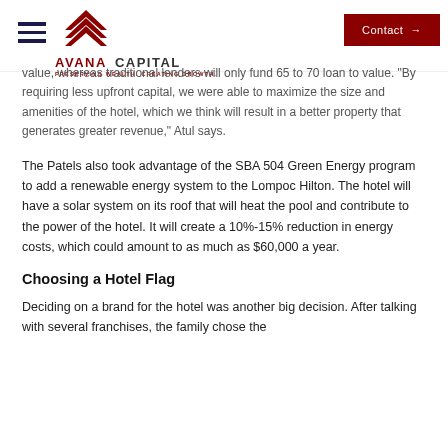Avana Capital — PRESERVING WEALTH. CREATING GROWTH. | Contact
value, whereas traditional lenders will only fund 65 to 70 loan to value. “By requiring less upfront capital, we were able to maximize the size and amenities of the hotel, which we think will result in a better property that generates greater revenue,” Atul says.
The Patels also took advantage of the SBA 504 Green Energy program to add a renewable energy system to the Lompoc Hilton. The hotel will have a solar system on its roof that will heat the pool and contribute to the power of the hotel. It will create a 10%-15% reduction in energy costs, which could amount to as much as $60,000 a year.
Choosing a Hotel Flag
Deciding on a brand for the hotel was another big decision. After talking with several franchises, the family chose the